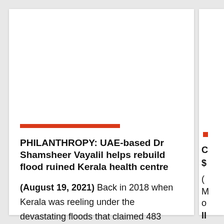PHILANTHROPY: UAE-based Dr Shamsheer Vayalil helps rebuild flood ruined Kerala health centre
(August 19, 2021) Back in 2018 when Kerala was reeling under the devastating floods that claimed 483 lives, several establishments too had been ruined. On